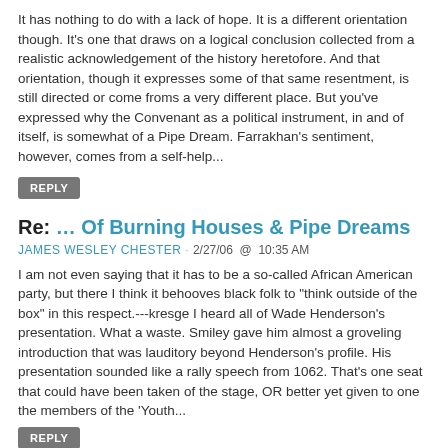It has nothing to do with a lack of hope. It is a different orientation though. It's one that draws on a logical conclusion collected from a realistic acknowledgement of the history heretofore. And that orientation, though it expresses some of that same resentment, is still directed or come froms a very different place. But you've expressed why the Convenant as a political instrument, in and of itself, is somewhat of a Pipe Dream. Farrakhan's sentiment, however, comes from a self-help...
REPLY
Re: … Of Burning Houses & Pipe Dreams
JAMES WESLEY CHESTER · 2/27/06 @ 10:35 AM
I am not even saying that it has to be a so-called African American party, but there I think it behooves black folk to "think outside of the box" in this respect.---kresge I heard all of Wade Henderson's presentation. What a waste. Smiley gave him almost a groveling introduction that was lauditory beyond Henderson's profile. His presentation sounded like a rally speech from 1062. That's one seat that could have been taken of the stage, OR better yet given to one the members of the 'Youth...
REPLY
Re: … Of Burning Houses & Pipe Dreams